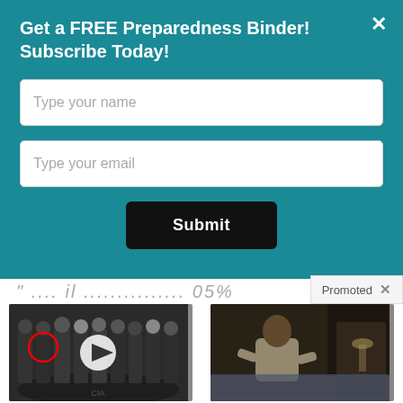Get a FREE Preparedness Binder! Subscribe Today!
Type your name
Type your email
Submit
Promoted
[Figure (photo): Group photo at CIA headquarters with a man circled in red and a video play button overlay]
Biden Probably Wants This Video Destroyed — US Dollar On Path Towards Replacement?
🔥 585,495
[Figure (photo): Elderly person sitting on a bed, looking downward in a dark room]
How Your Body Warns You That Dementia Is Forming
🔥 60,471